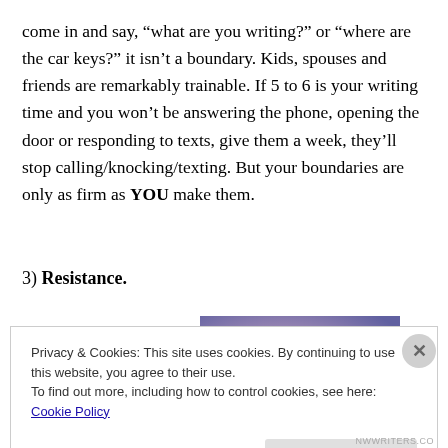come in and say, “what are you writing?” or “where are the car keys?” it isn’t a boundary. Kids, spouses and friends are remarkably trainable. If 5 to 6 is your writing time and you won’t be answering the phone, opening the door or responding to texts, give them a week, they’ll stop calling/knocking/texting. But your boundaries are only as firm as YOU make them.
3) Resistance.
[Figure (photo): Abstract artwork with purple/blue background and a bright pink/magenta circle, with hanging elements below the circle.]
Privacy & Cookies: This site uses cookies. By continuing to use this website, you agree to their use.
To find out more, including how to control cookies, see here: Cookie Policy
NWWRITERS.CO